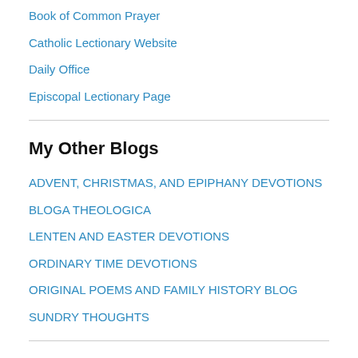Book of Common Prayer
Catholic Lectionary Website
Daily Office
Episcopal Lectionary Page
My Other Blogs
ADVENT, CHRISTMAS, AND EPIPHANY DEVOTIONS
BLOGA THEOLOGICA
LENTEN AND EASTER DEVOTIONS
ORDINARY TIME DEVOTIONS
ORIGINAL POEMS AND FAMILY HISTORY BLOG
SUNDRY THOUGHTS
Subscribe to Blog via Email
Enter your email address to subscribe to this blog and receive notifications of new posts by email.